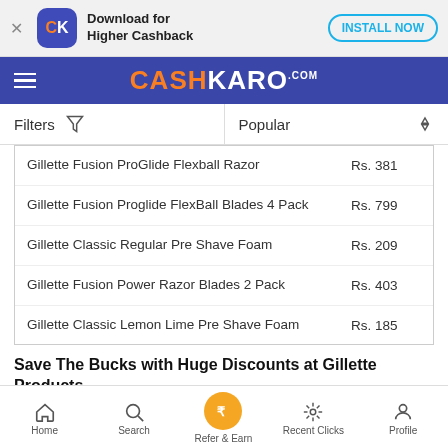Download for Higher Cashback | INSTALL NOW
CASHKARO.COM
Filters | Popular
| Product | Price |
| --- | --- |
| Gillette Fusion ProGlide Flexball Razor | Rs. 381 |
| Gillette Fusion Proglide FlexBall Blades 4 Pack | Rs. 799 |
| Gillette Classic Regular Pre Shave Foam | Rs. 209 |
| Gillette Fusion Power Razor Blades 2 Pack | Rs. 403 |
| Gillette Classic Lemon Lime Pre Shave Foam | Rs. 185 |
Save The Bucks with Huge Discounts at Gillette Products
Gillette is a grooming and personal care brand specializing in safety razors and
Home | Search | Refer & Earn | Recent Clicks | Profile